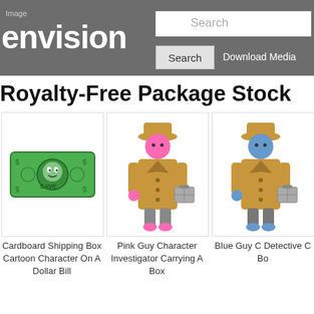Image envision  Search  Search  Download Media
Royalty-Free Package Stock
[Figure (illustration): Cartoon dollar bill with a smiley face and the word SAVE on it, in green]
[Figure (illustration): Pink cartoon character in detective trench coat and hat, carrying a box]
[Figure (illustration): Blue cartoon character in detective trench coat and hat, carrying a box (partially cropped)]
Cardboard Shipping Box Cartoon Character On A Dollar Bill
Pink Guy Character Investigator Carrying A Box
Blue Guy C Detective C Bo